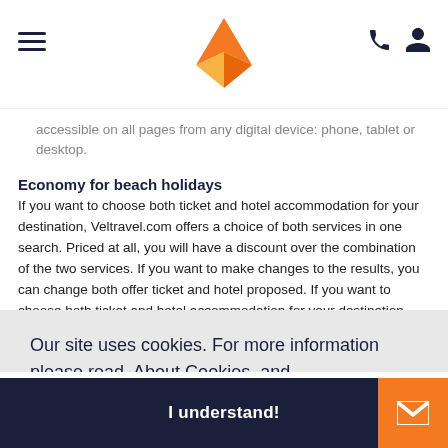[Veltravel logo and navigation icons]
accessible on all pages from any digital device: phone, tablet or desktop.
Economy for beach holidays
If you want to choose both ticket and hotel accommodation for your destination, Veltravel.com offers a choice of both services in one search. Priced at all, you will have a discount over the combination of the two services. If you want to make changes to the results, you can change both offer ticket and hotel proposed. If you want to choose both ticket and hotel accommodation for your destination, Veltravel.com offers a choice of both services in one search. Priced at all, you will have a discount as a result of
Our site uses cookies. For more information please read About Cookies and Privacy policy
om!
I understand!